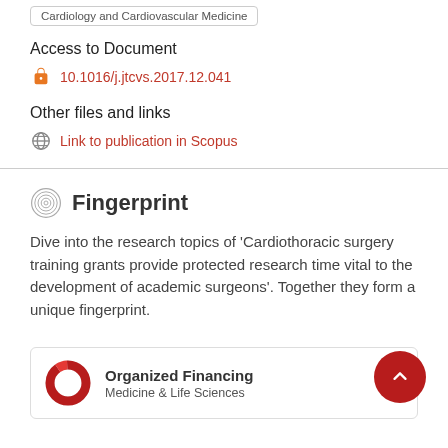Cardiology and Cardiovascular Medicine
Access to Document
10.1016/j.jtcvs.2017.12.041
Other files and links
Link to publication in Scopus
Fingerprint
Dive into the research topics of 'Cardiothoracic surgery training grants provide protected research time vital to the development of academic surgeons'. Together they form a unique fingerprint.
Organized Financing
Medicine & Life Sciences